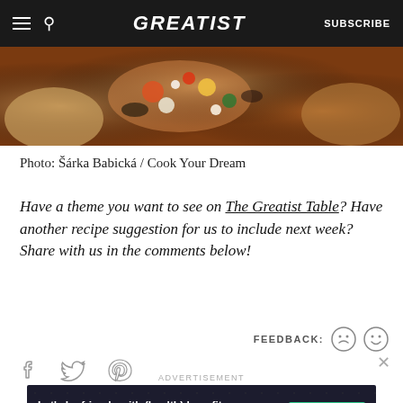GREATIST | SUBSCRIBE
[Figure (photo): Close-up food photo showing roasted vegetables and cheese on bread, with warm brown and orange tones]
Photo: Šárka Babická / Cook Your Dream
Have a theme you want to see on The Greatist Table? Have another recipe suggestion for us to include next week? Share with us in the comments below!
FEEDBACK: 😞 🙂
Social share icons: Facebook, Twitter, Pinterest
ADVERTISEMENT
Let's be friends with (health) benefits. Follow GREATIST on Instagram FOLLOW US